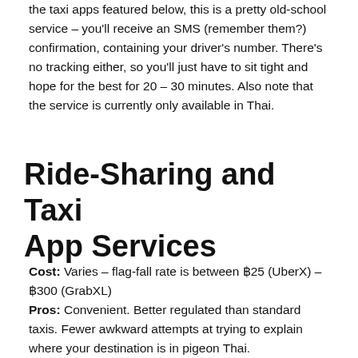the taxi apps featured below, this is a pretty old-school service – you'll receive an SMS (remember them?) confirmation, containing your driver's number. There's no tracking either, so you'll just have to sit tight and hope for the best for 20 – 30 minutes. Also note that the service is currently only available in Thai.
Ride-Sharing and Taxi App Services
Cost: Varies – flag-fall rate is between ฿25 (UberX) – ฿300 (GrabXL)
Pros: Convenient. Better regulated than standard taxis. Fewer awkward attempts at trying to explain where your destination is in pigeon Thai.
Cons: Won't someone think of the poor meter taxis? Less handy if you need a taxi like, right